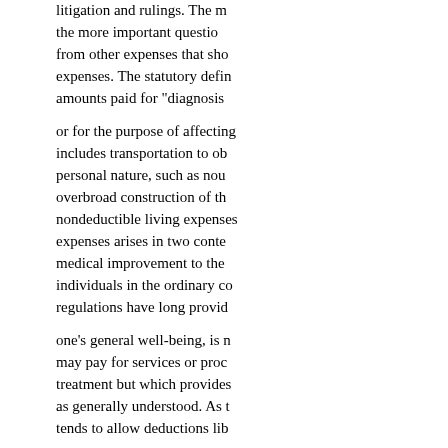litigation and rulings. The more important question from other expenses that should be expenses. The statutory definition amounts paid for "diagnosis or for the purpose of affecting includes transportation to obtain personal nature, such as nourishment, overbroad construction of the nondeductible living expenses expenses arises in two contexts: medical improvement to the individuals in the ordinary course regulations have long provided one's general well-being, is not may pay for services or procedures treatment but which provides as generally understood. As the tends to allow deductions liberally orthodox medical procedures acupuncture treatment is deductible sanctioned by practitioner licensing A second issue is whose medical expenses permits a taxpayer to deduct